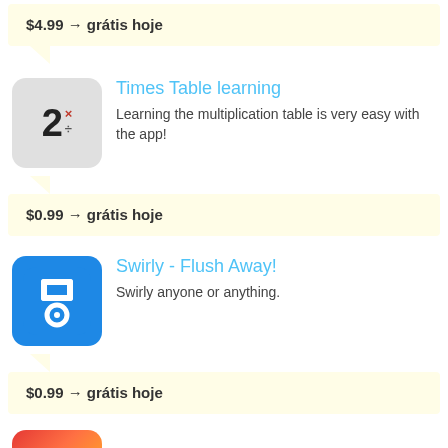$4.99 → grátis hoje
[Figure (illustration): Times Table learning app icon: gray rounded square with large '2' and x/÷ symbols]
Times Table learning
Learning the multiplication table is very easy with the app!
$0.99 → grátis hoje
[Figure (illustration): Swirly app icon: blue rounded square with white swirl/toilet symbol]
Swirly - Flush Away!
Swirly anyone or anything.
$0.99 → grátis hoje